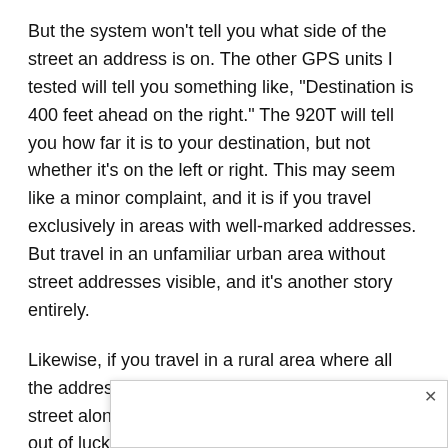But the system won't tell you what side of the street an address is on. The other GPS units I tested will tell you something like, “Destination is 400 feet ahead on the right.” The 920T will tell you how far it is to your destination, but not whether it’s on the left or right. This may seem like a minor complaint, and it is if you travel exclusively in areas with well-marked addresses. But travel in an unfamiliar urban area without street addresses visible, and it’s another story entirely.
Likewise, if you travel in a rural area where all the address numbers are on one side of the street along with the mailboxes, you’re basically out of luck. This one shortcoming alone, when the Tomtom is used in the Washington, D.C., area, can lead to all sorts of unexpected events, e[...] invisible[...]